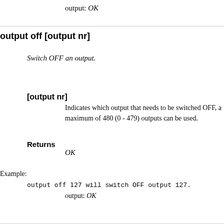output: OK
output off [output nr]
Switch OFF an output.
[output nr]
Indicates which output that needs to be switched OFF, a maximum of 480 (0 - 479) outputs can be used.
Returns
OK
Example:
output off 127 will switch OFF output 127.
output: OK